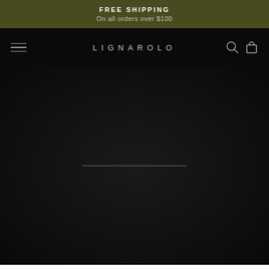FREE SHIPPING
On all orders over $100
LIGNAROLO
[Figure (screenshot): Dark e-commerce website page for LIGNAROLO brand showing: olive/dark-yellow announcement bar at top with 'FREE SHIPPING On all orders over $100', black navigation bar with hamburger menu on left, LIGNAROLO logo centered, search and cart icons on right, then a large dark/black main content area with a loading progress indicator bar in the center, and a thin white strip at the bottom.]